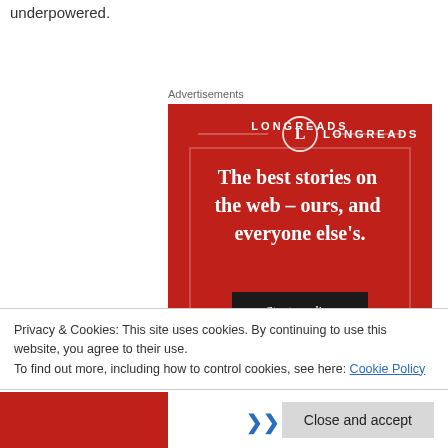underpowered.
Advertisements
[Figure (illustration): Longreads advertisement banner on red background with circular logo, decorative border, headline 'The best stories on the web – ours, and everyone else's.' and a dark 'Start reading' button.]
Privacy & Cookies: This site uses cookies. By continuing to use this website, you agree to their use.
To find out more, including how to control cookies, see here: Cookie Policy